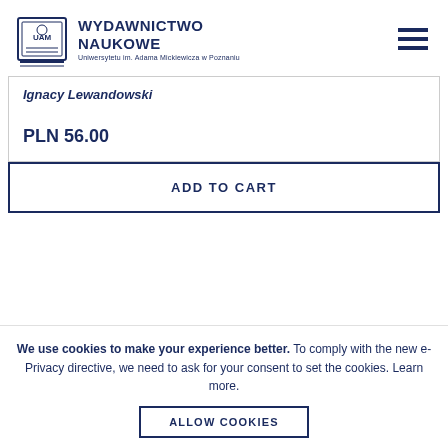WYDAWNICTWO NAUKOWE Uniwersytetu im. Adama Mickiewicza w Poznaniu
Ignacy Lewandowski
PLN 56.00
ADD TO CART
We use cookies to make your experience better. To comply with the new e-Privacy directive, we need to ask for your consent to set the cookies. Learn more.
ALLOW COOKIES